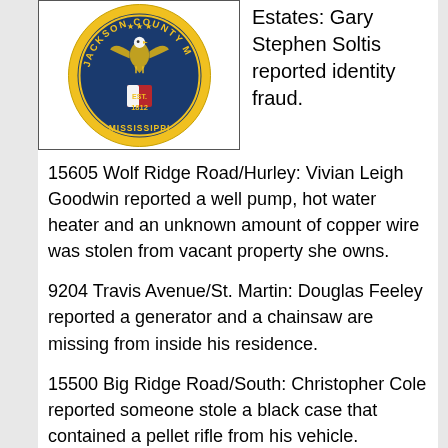[Figure (logo): Jackson County seal/badge with eagle and EST. 1812 text, yellow and blue]
Estates:  Gary Stephen Soltis reported identity fraud.
15605 Wolf Ridge Road/Hurley:  Vivian Leigh Goodwin reported a well pump, hot water heater and an unknown amount of copper wire was stolen from vacant property she owns.
9204 Travis Avenue/St. Martin:  Douglas Feeley reported a generator and a chainsaw are missing from inside his residence.
15500 Big Ridge Road/South:  Christopher Cole reported someone stole a black case that contained a pellet rifle from his vehicle.
Arrests:
6709 Washington Ave. /St. Martin:  Chad Tomlin was arrested for a failure to appear warrant, expired tag, and no insurance.
Hwy 613/Escatawpa:  Cameron Walley was arrested